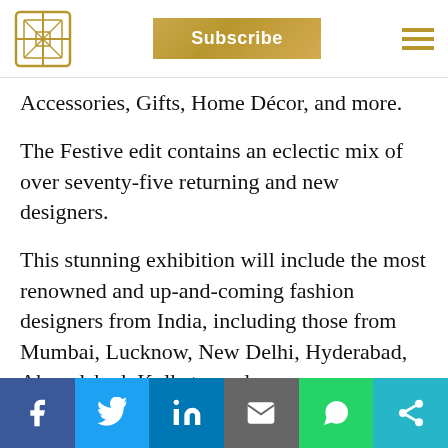Subscribe
Accessories, Gifts, Home Décor, and more.
The Festive edit contains an eclectic mix of over seventy-five returning and new designers.
This stunning exhibition will include the most renowned and up-and-coming fashion designers from India, including those from Mumbai, Lucknow, New Delhi, Hyderabad, Ahmedabad, Kolkata, and more.
Getting married, attending a wedding, or just shopping for the approaching Rakhi festival? You
f  twitter  in  email  whatsapp  share